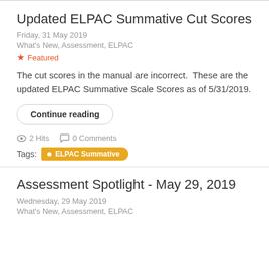Updated ELPAC Summative Cut Scores
Friday, 31 May 2019
What's New, Assessment, ELPAC
★ Featured
The cut scores in the manual are incorrect.  These are the updated ELPAC Summative Scale Scores as of 5/31/2019.
Continue reading
2 Hits   0 Comments
Tags:  ELPAC Summative
Assessment Spotlight - May 29, 2019
Wednesday, 29 May 2019
What's New, Assessment, ELPAC